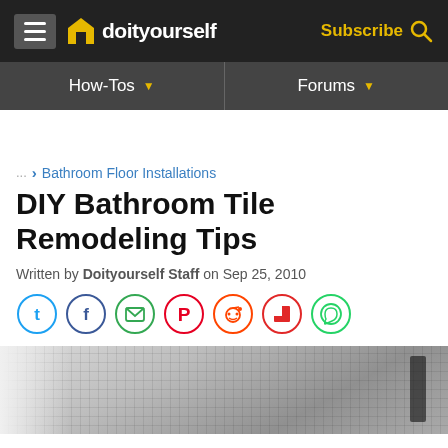doityourself — Subscribe
How-Tos | Forums
... › Bathroom Floor Installations
DIY Bathroom Tile Remodeling Tips
Written by Doityourself Staff on Sep 25, 2010
[Figure (other): Social sharing icons: Twitter, Facebook, Email, Pinterest, Reddit, Flipboard, WhatsApp]
[Figure (photo): Photo of a bathroom with mosaic tile walls and a shower/tub area]